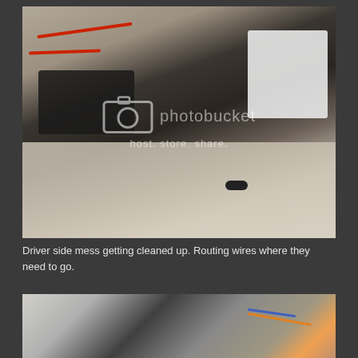[Figure (photo): Overhead view of vehicle driver side interior showing wiring mess being cleaned up. Various wires including red wires, electronic modules, fuse boxes visible on the floor and console area. A Photobucket watermark overlay is visible on the image. Bare carpet floor visible in lower portion.]
Driver side mess getting cleaned up. Routing wires where they need to go.
[Figure (photo): Partial view of vehicle interior lower area showing door sill, floor mat area, and wiring harnesses with orange and multicolor wires visible along the right side.]